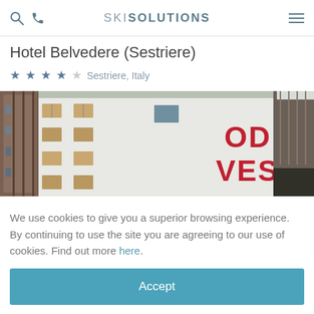SKI SOLUTIONS
Hotel Belvedere (Sestriere)
★★★★☆ Sestriere, Italy
[Figure (photo): Hotel Belvedere building exterior showing white facade with red letters spelling OVEST, wooden window frames, and snow on the roof]
We use cookies to give you a superior browsing experience. By continuing to use the site you are agreeing to our use of cookies. Find out more here.
Accept